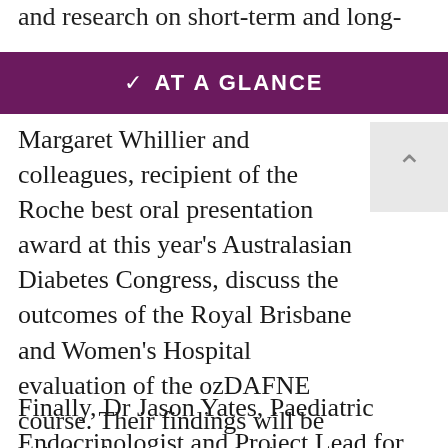and research on short-term and long-
AT A GLANCE
Margaret Whillier and colleagues, recipient of the Roche best oral presentation award at this year's Australasian Diabetes Congress, discuss the outcomes of the Royal Brisbane and Women's Hospital evaluation of the ozDAFNE course. Their findings will be helpful for anyone who is currently or considering offering structured group education for people with type 1 diabetes.
Finally, Dr Jason Yates, Paediatric Endocrinologist and Project Lead for